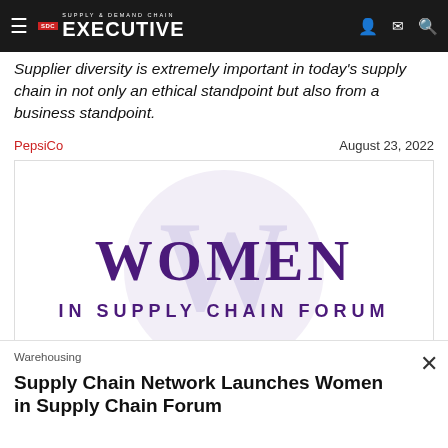Supply & Demand Chain Executive
Supplier diversity is extremely important in today's supply chain in not only an ethical standpoint but also from a business standpoint.
PepsiCo    August 23, 2022
[Figure (logo): Women in Supply Chain Forum logo — large purple text 'WOMEN' with 'IN SUPPLY CHAIN FORUM' below, overlaid on a light lavender circle watermark with a stylized 'W']
Warehousing
Supply Chain Network Launches Women in Supply Chain Forum